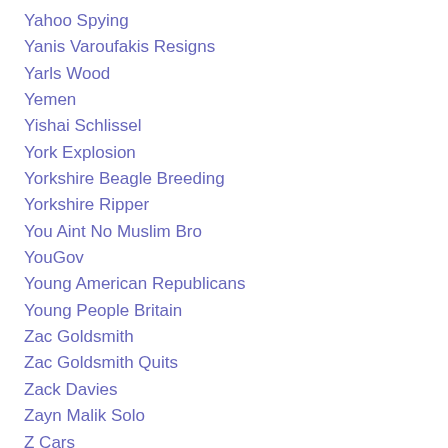Yahoo Spying
Yanis Varoufakis Resigns
Yarls Wood
Yemen
Yishai Schlissel
York Explosion
Yorkshire Beagle Breeding
Yorkshire Ripper
You Aint No Muslim Bro
YouGov
Young American Republicans
Young People Britain
Zac Goldsmith
Zac Goldsmith Quits
Zack Davies
Zayn Malik Solo
Z Cars
Zionist